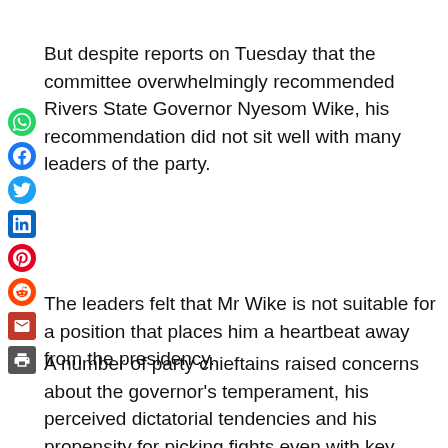But despite reports on Tuesday that the committee overwhelmingly recommended Rivers State Governor Nyesom Wike, his recommendation did not sit well with many leaders of the party.
[Figure (infographic): Vertical stack of social media sharing icons: WhatsApp, Facebook, Twitter, LinkedIn, Pinterest, Reddit, Email, Print]
The leaders felt that Mr Wike is not suitable for a position that places him a heartbeat away from the presidency.
A number of party chieftains raised concerns about the governor's temperament, his perceived dictatorial tendencies and his propensity for picking fights even with key allies.